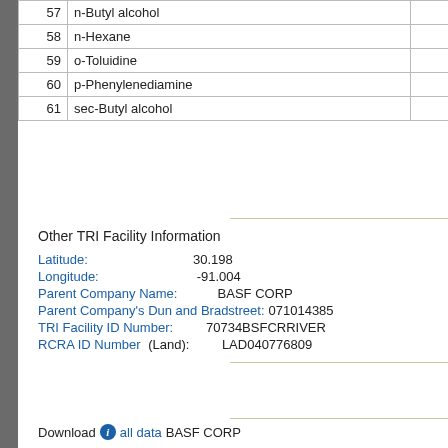| # | Chemical Name |  |
| --- | --- | --- |
| 57 | n-Butyl alcohol |  |
| 58 | n-Hexane |  |
| 59 | o-Toluidine |  |
| 60 | p-Phenylenediamine |  |
| 61 | sec-Butyl alcohol |  |
Other TRI Facility Information
Latitude: 30.198
Longitude: -91.004
Parent Company Name: BASF CORP
Parent Company's Dun and Bradstreet: 071014385
TRI Facility ID Number: 70734BSFCRRIVER
RCRA ID Number (Land): LAD040776809
Download all data BASF CORP